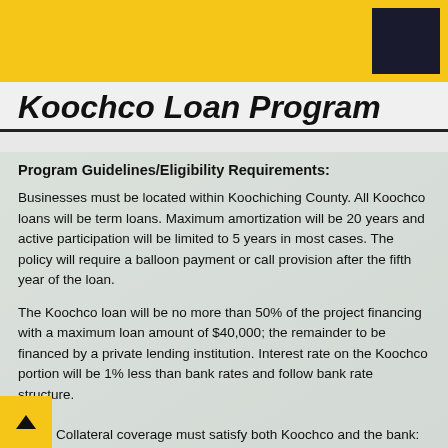Koochco Loan Program
Program Guidelines/Eligibility Requirements:
Businesses must be located within Koochiching County. All Koochco loans will be term loans. Maximum amortization will be 20 years and active participation will be limited to 5 years in most cases. The policy will require a balloon payment or call provision after the fifth year of the loan.
The Koochco loan will be no more than 50% of the project financing with a maximum loan amount of $40,000; the remainder to be financed by a private lending institution. Interest rate on the Koochco portion will be 1% less than bank rates and follow bank rate structure.
Collateral coverage must satisfy both Koochco and the bank: